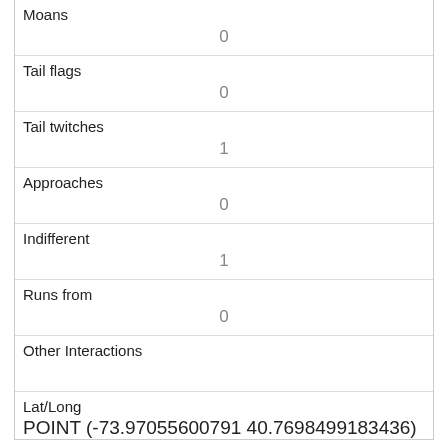| Moans | 0 |
| Tail flags | 0 |
| Tail twitches | 1 |
| Approaches | 0 |
| Indifferent | 1 |
| Runs from | 0 |
| Other Interactions |  |
| Lat/Long | POINT (-73.97055600791 40.7698499183436) |
| Link | 1112 |
| rowid |  |